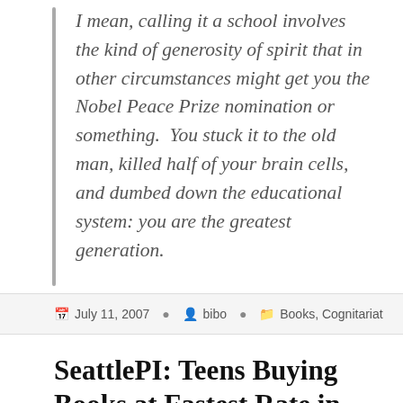I mean, calling it a school involves the kind of generosity of spirit that in other circumstances might get you the Nobel Peace Prize nomination or something.  You stuck it to the old man, killed half of your brain cells, and dumbed down the educational system: you are the greatest generation.
July 11, 2007   bibo   Books, Cognitariat
SeattlePI: Teens Buying Books at Fastest Rate in Decades